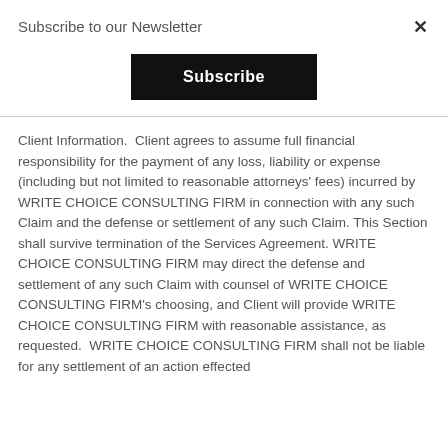Subscribe to our Newsletter
[Figure (screenshot): A black Subscribe button centered in the modal dialog]
Client Information.  Client agrees to assume full financial responsibility for the payment of any loss, liability or expense (including but not limited to reasonable attorneys' fees) incurred by WRITE CHOICE CONSULTING FIRM in connection with any such Claim and the defense or settlement of any such Claim. This Section shall survive termination of the Services Agreement. WRITE CHOICE CONSULTING FIRM may direct the defense and settlement of any such Claim with counsel of WRITE CHOICE CONSULTING FIRM's choosing, and Client will provide WRITE CHOICE CONSULTING FIRM with reasonable assistance, as requested.  WRITE CHOICE CONSULTING FIRM shall not be liable for any settlement of an action effected